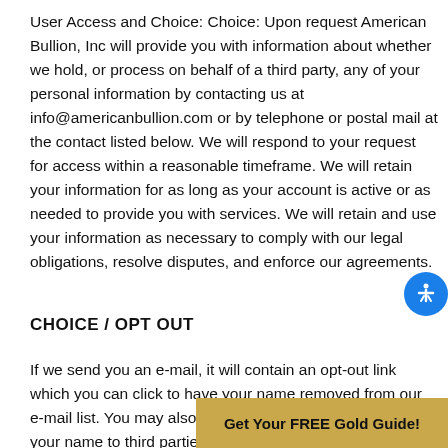User Access and Choice: Choice: Upon request American Bullion, Inc will provide you with information about whether we hold, or process on behalf of a third party, any of your personal information by contacting us at info@americanbullion.com or by telephone or postal mail at the contact listed below. We will respond to your request for access within a reasonable timeframe. We will retain your information for as long as your account is active or as needed to provide you with services. We will retain and use your information as necessary to comply with our legal obligations, resolve disputes, and enforce our agreements.
CHOICE / OPT OUT
If we send you an e-mail, it will contain an opt-out link which you can click to have your name removed from our e-mail list. You may also opt-out of allowing us to provide your name to third parties for d